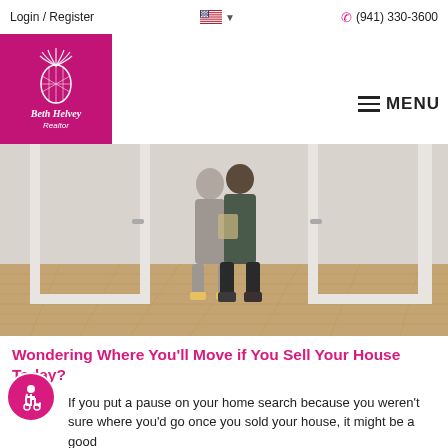Login / Register   (941) 330-3600
[Figure (logo): Beth Helvey Realtor logo — magenta/pink square with white pineapple illustration and text 'Beth Helvey Realtor']
[Figure (photo): A couple standing together in an empty room with hardwood floors and white walls/doors, viewed from behind through a doorway]
Wondering Where You'll Move if You Sell Your House Today?
If you put a pause on your home search because you weren't sure where you'd go once you sold your house, it might be a good
...Read More